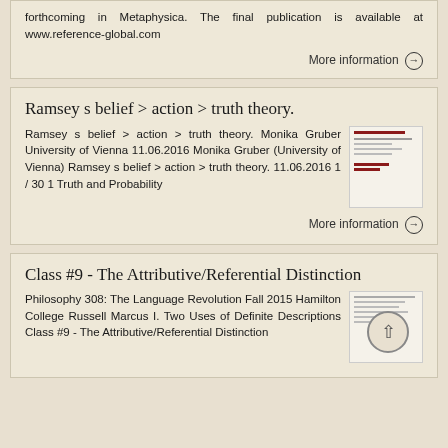forthcoming in Metaphysica. The final publication is available at www.reference-global.com
More information →
Ramsey s belief > action > truth theory.
Ramsey s belief > action > truth theory. Monika Gruber University of Vienna 11.06.2016 Monika Gruber (University of Vienna) Ramsey s belief > action > truth theory. 11.06.2016 1 / 30 1 Truth and Probability
More information →
Class #9 - The Attributive/Referential Distinction
Philosophy 308: The Language Revolution Fall 2015 Hamilton College Russell Marcus I. Two Uses of Definite Descriptions Class #9 - The Attributive/Referential Distinction